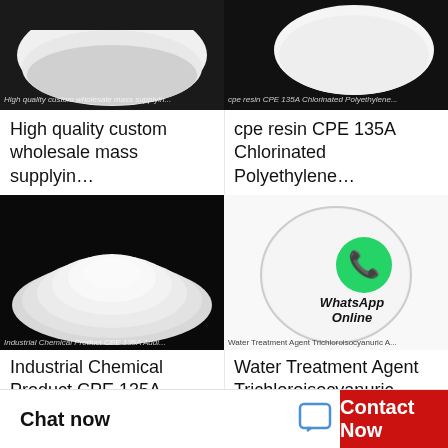[Figure (photo): White powder heap on dark background - High quality custom wholesale mass supply product photo]
High quality custom wholesale mass supplyin…
[Figure (photo): White granular powder on dark background - CPE 135A Chlorinated Polyethylene product photo]
cpe resin CPE 135A Chlorinated Polyethylene…
[Figure (photo): Industrial white powder heap on black background - CPE 135A Additive product photo]
Industrial Chemical Product CPE 135A Additive…
[Figure (photo): Oval shaped white pill/tablet with WhatsApp Online overlay - Water Treatment Agent Trichloroisocyanuric Acid product photo]
Water Treatment Agent Trichloroisocyanuric Aci…
Chat now
Contact Now